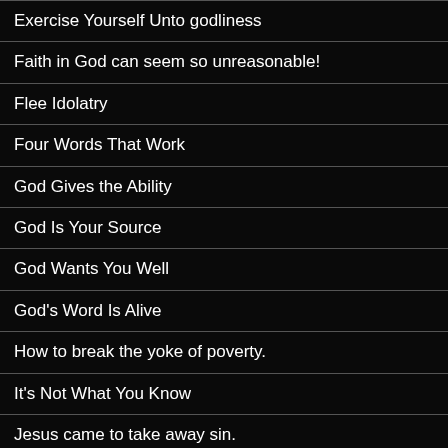Exercise Yourself Unto godliness
Faith in God can seem so unreasonable!
Flee Idolatry
Four Words That Work
God Gives the Ability
God Is Your Source
God Wants You Well
God's Word Is Alive
How to break the yoke of poverty.
It's Not What You Know
Jesus came to take away sin.
Love Is the Power Charge